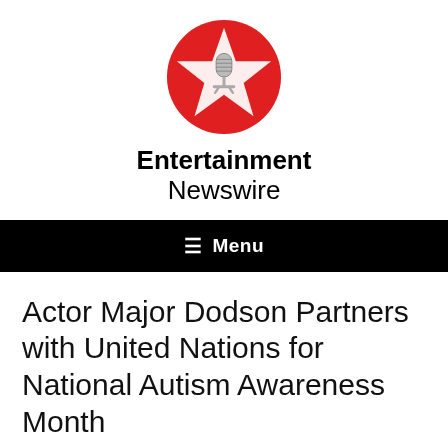[Figure (logo): Entertainment Newswire logo: red circle with a white five-pointed star and a vintage microphone in the center]
Entertainment Newswire
≡ Menu
Actor Major Dodson Partners with United Nations for National Autism Awareness Month